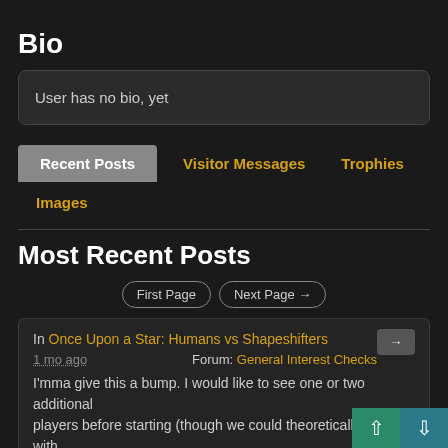Bio
User has no bio, yet
Recent Posts
Visitor Messages
Trophies
Images
Most Recent Posts
First Page  Next Page →
In Once Upon a Star: Humans vs Shapeshifters
1 mo ago  Forum: General Interest Checks
I'mma give this a bump. I would like to see one or two additional players before starting (though we could theoretically start with